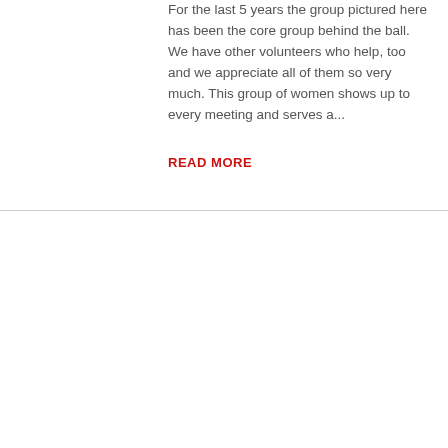For the last 5 years the group pictured here has been the core group behind the ball. We have other volunteers who help, too and we appreciate all of them so very much. This group of women shows up to every meeting and serves a...
READ MORE
05
Sep 2016
[Figure (photo): A man and woman standing together with holiday greenery and poinsettias in the background]